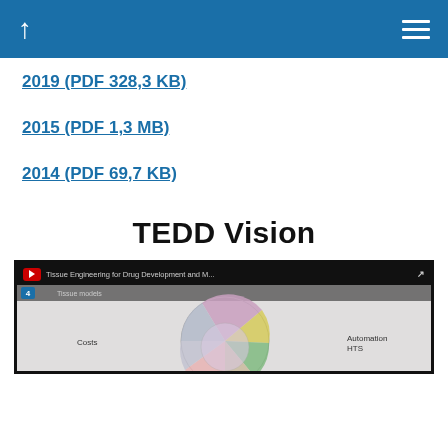Navigation bar with back arrow and menu icon
2019 (PDF 328,3 KB)
2015 (PDF 1,3 MB)
2014 (PDF 69,7 KB)
TEDD Vision
[Figure (screenshot): Video thumbnail showing a circular diagram labeled 'Tissue models' with sections including Costs, Automation HTS, and other tissue engineering topics. YouTube-style video player interface.]